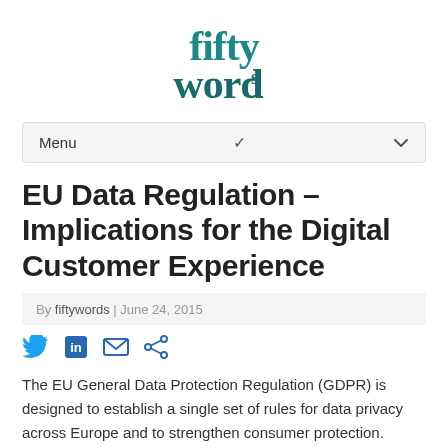[Figure (logo): fiftywords logo in teal/dark-teal color, stylized text with superscript 's' on 'words']
Menu
EU Data Regulation – Implications for the Digital Customer Experience
By fiftywords | June 24, 2015
[Figure (infographic): Social sharing icons: Twitter bird, LinkedIn 'in', email envelope, share arrow]
The EU General Data Protection Regulation (GDPR) is designed to establish a single set of rules for data privacy across Europe and to strengthen consumer protection.